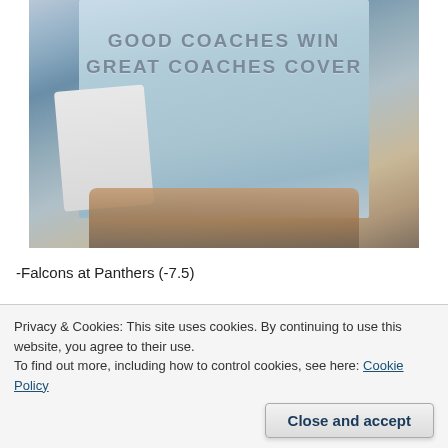[Figure (photo): Person wearing a light blue t-shirt with text 'GOOD COACHES WIN GREAT COACHES COVER' on the back, photographed from behind in a crowd]
-Falcons at Panthers (-7.5)
Pick: Falcons(+7.5) cover in a close on in Carolina.
Privacy & Cookies: This site uses cookies. By continuing to use this website, you agree to their use. To find out more, including how to control cookies, see here: Cookie Policy
Pick: Saints(-6) should cover this one easily.